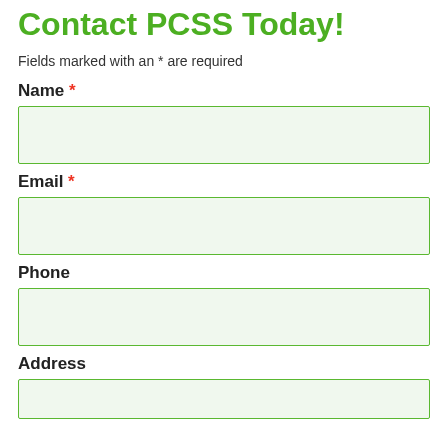Contact PCSS Today!
Fields marked with an * are required
Name *
[Figure (other): Empty text input field for Name]
Email *
[Figure (other): Empty text input field for Email]
Phone
[Figure (other): Empty text input field for Phone]
Address
[Figure (other): Empty text input field for Address]